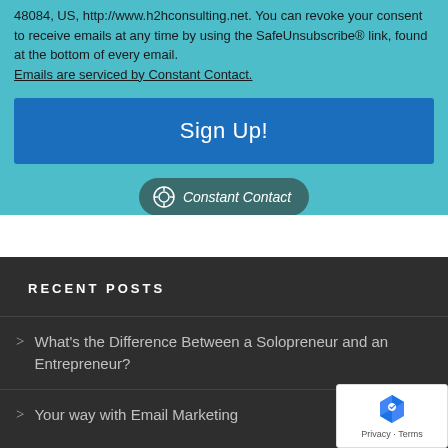48084, US, http://www.h2hconsulting.net. You can revoke your consent to receive emails at any time by using the SafeUnsubscribe® link, found at the bottom of every email. Emails are serviced by Constant Contact.
[Figure (other): Blue 'Sign Up!' button]
[Figure (logo): Constant Contact badge/logo button]
RECENT POSTS
What's the Difference Between a Solopreneur and an Entrepreneur?
Your way with Email Marketing
[Figure (other): reCAPTCHA badge showing logo and Privacy - Terms links]